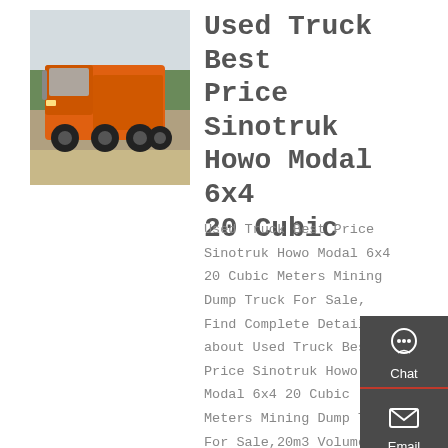[Figure (photo): Orange Sinotruk Howo dump truck / tractor unit viewed from rear-side, parked outdoors with trees in background]
Used Truck Best Price Sinotruk Howo Modal 6x4 20 Cubic
Used Truck Best Price Sinotruk Howo Modal 6x4 20 Cubic Meters Mining Dump Truck For Sale, Find Complete Details about Used Truck Best Price Sinotruk Howo Modal 6x4 20 Cubic Meters Mining Dump Truck For Sale,20m3 Volume Tons Dump Truck Tippers For Sale,Dump Trucks
[Figure (infographic): Sidebar with Chat, Email, Contact, and Top navigation icons on dark grey background]